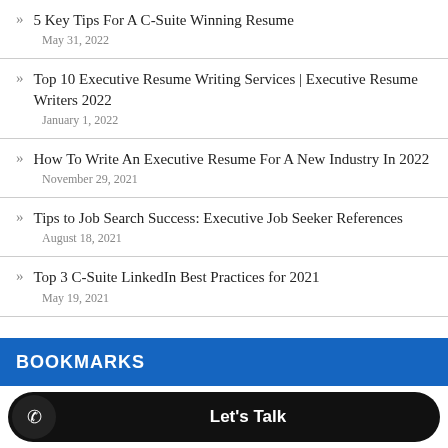5 Key Tips For A C-Suite Winning Resume
May 31, 2022
Top 10 Executive Resume Writing Services | Executive Resume Writers 2022
January 1, 2022
How To Write An Executive Resume For A New Industry In 2022
November 29, 2021
Tips to Job Search Success: Executive Job Seeker References
August 18, 2021
Top 3 C-Suite LinkedIn Best Practices for 2021
May 19, 2021
BOOKMARKS
Let's Talk